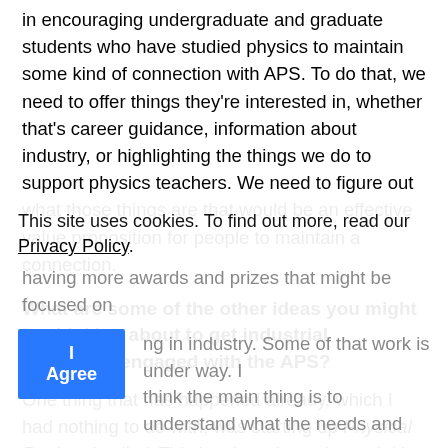in encouraging undergraduate and graduate students who have studied physics to maintain some kind of connection with APS. To do that, we need to offer things they're interested in, whether that's career guidance, information about industry, or highlighting the things we do to support physics teachers. We need to figure out what those things are that would be an effective value proposition for people to maintain a connection.
What are some of the other ideas you might be thinking about to get industrial physicists engaged with the APS?
One thing that has happened already, which I had nothing to do with, was starting up Physical Review Applied. This is a brand-new journal. It's really targeted at people who are more focused on the applications of physics, rather than fundamental research. That is an indication of a much more open interest in the applied world. That's one thing that's having more awards and prizes that might be focused on working in industry. Some of that work is under way. I think the main thing is to understand what the needs and
This site uses cookies. To find out more, read our Privacy Policy.
I Agree